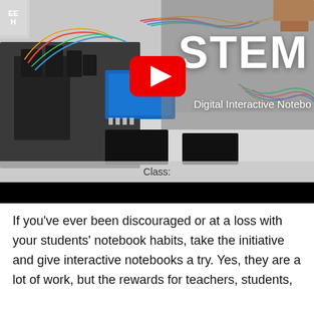[Figure (screenshot): A YouTube video thumbnail showing a STEM Digital Interactive Notebook. The image shows electronics/robotics components (wires, circuit boards, mechanical hand) on a white surface. A large YouTube play button is centered. Text reads 'STEM' in large white letters and 'Digital Interactive Notebo[ok]' below it. A 'Class:' label bar appears at the bottom of the image. A black bar is below the thumbnail.]
If you've ever been discouraged or at a loss with your students' notebook habits, take the initiative and give interactive notebooks a try. Yes, they are a lot of work, but the rewards for teachers, students,